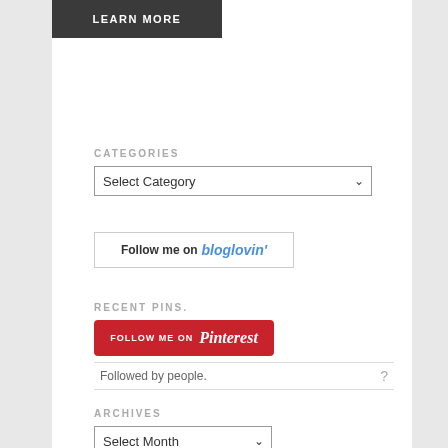[Figure (screenshot): LEARN MORE button — dark grey/charcoal background with white uppercase text]
CATEGORIES
[Figure (screenshot): Select Category dropdown widget]
[Figure (screenshot): Follow me on bloglovin' button with blue italic bloglovin text]
RECENT PINS.
[Figure (logo): Follow me on Pinterest red button]
Followed by people.
ARCHIVES
[Figure (screenshot): Select Month dropdown widget]